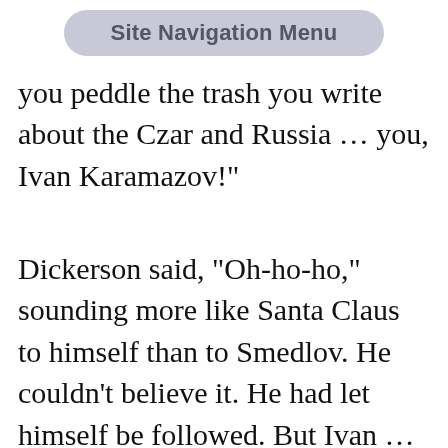Site Navigation Menu
you peddle the trash you write about the Czar and Russia ... you, Ivan Karamazov!"
Dickerson said, "Oh-ho-ho," sounding more like Santa Claus to himself than to Smedlov. He couldn't believe it. He had let himself be followed. But Ivan ... Ivan? He took a chance. "Sir, I'll